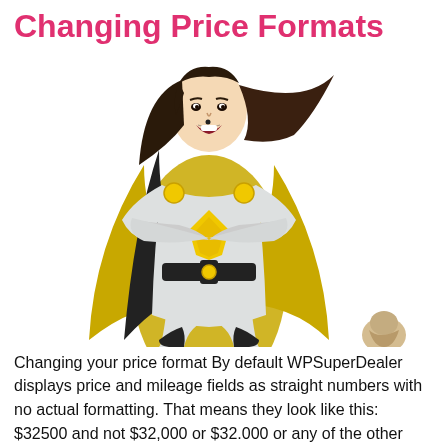Changing Price Formats
[Figure (illustration): Female superhero character with yellow cape and costume, arms crossed, long dark hair, yellow shield emblem on chest, yellow belt, standing in a heroic pose. A small character or item visible at bottom right.]
Changing your price format By default WPSuperDealer displays price and mileage fields as straight numbers with no actual formatting. That means they look like this: $32500 and not $32,000 or $32.000 or any of the other formats you might find around the world. Why isn't this an option, and